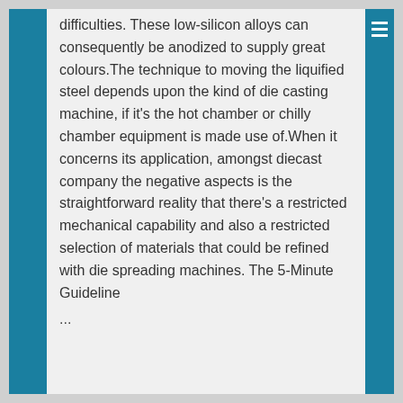difficulties. These low-silicon alloys can consequently be anodized to supply great colours.The technique to moving the liquified steel depends upon the kind of die casting machine, if it's the hot chamber or chilly chamber equipment is made use of.When it concerns its application, amongst diecast company the negative aspects is the straightforward reality that there's a restricted mechanical capability and also a restricted selection of materials that could be refined with die spreading machines. The 5-Minute Guideline
...